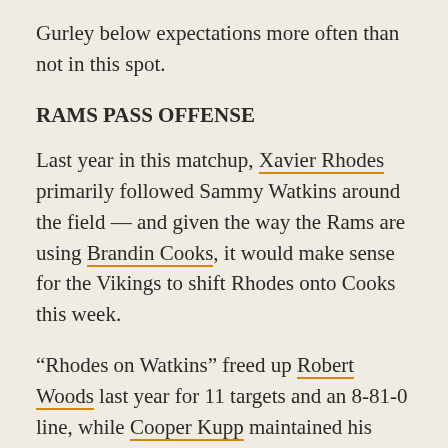Gurley below expectations more often than not in this spot.
RAMS PASS OFFENSE
Last year in this matchup, Xavier Rhodes primarily followed Sammy Watkins around the field — and given the way the Rams are using Brandin Cooks, it would make sense for the Vikings to shift Rhodes onto Cooks this week.
“Rhodes on Watkins” freed up Robert Woods last year for 11 targets and an 8-81-0 line, while Cooper Kupp maintained his typical role and hauled in six of seven targets for 64 yards and no scores. Woods is going to have a difficult time shaking free for big plays downfield against this clamp-down Vikings defense,